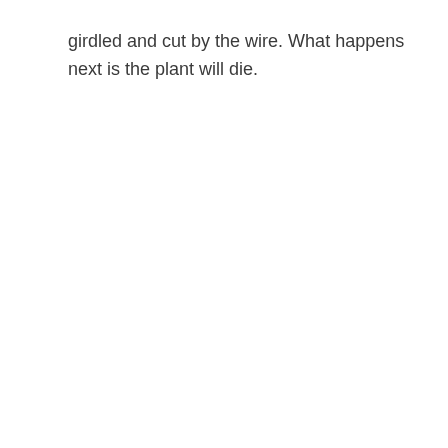girdled and cut by the wire. What happens next is the plant will die.